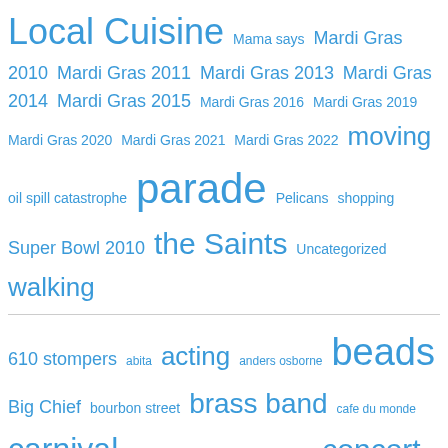[Figure (other): A tag cloud / word cloud with words in varying sizes, all in blue color. Top section includes: Local Cuisine (largest), Mama says, Mardi Gras 2010, Mardi Gras 2011, Mardi Gras 2013, Mardi Gras 2014, Mardi Gras 2015, Mardi Gras 2016, Mardi Gras 2019, Mardi Gras 2020, Mardi Gras 2021, Mardi Gras 2022, moving (large), oil spill catastrophe, parade (largest), Pelicans, shopping, Super Bowl 2010, the Saints (large), Uncategorized, walking (large). Bottom section includes: 610 stompers, abita, acting (large), anders osborne, beads (largest), Big Chief, bourbon street, brass band (large), cafe du monde, carnival (large), Christmas, Commander's Palace, concert (large), costumes, crunk, dancingman504 (large), Derrick Tabb, Disco Amigos, Django Unchained, drew brees, floats (large), french quarter (large), French Quarter Fest, garden.]